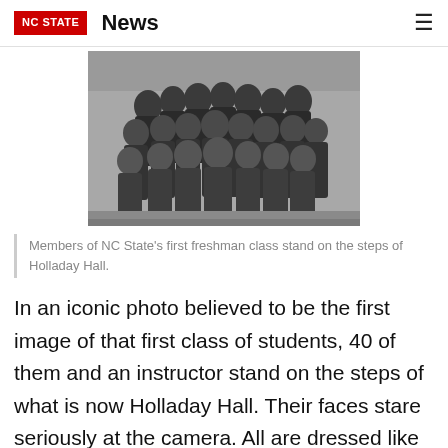NC STATE  News
[Figure (photo): Black and white historical group photo of approximately 40 young men and an instructor standing on steps of a building (Holladay Hall), believed to be NC State's first freshman class.]
Members of NC State's first freshman class stand on the steps of Holladay Hall.
In an iconic photo believed to be the first image of that first class of students, 40 of them and an instructor stand on the steps of what is now Holladay Hall. Their faces stare seriously at the camera. All are dressed like they're on their way to an important business deal, some swallowed by